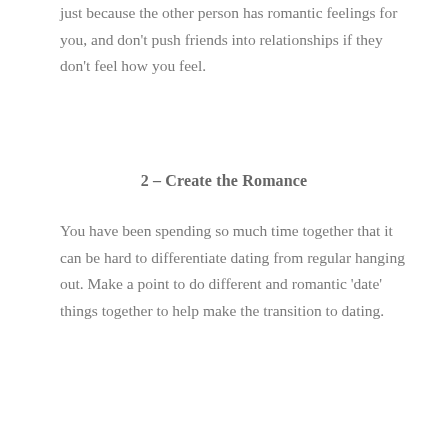just because the other person has romantic feelings for you, and don't push friends into relationships if they don't feel how you feel.
2 – Create the Romance
You have been spending so much time together that it can be hard to differentiate dating from regular hanging out. Make a point to do different and romantic 'date' things together to help make the transition to dating.